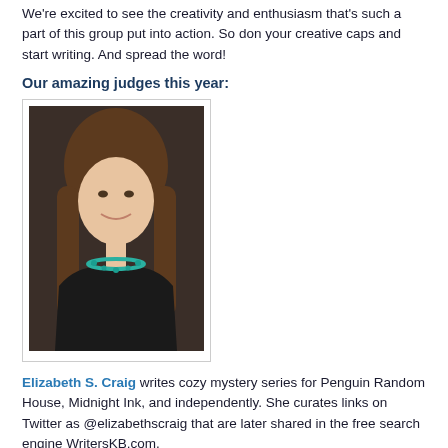We're excited to see the creativity and enthusiasm that's such a part of this group put into action. So don your creative caps and start writing. And spread the word!
Our amazing judges this year:
[Figure (photo): Portrait photo of Elizabeth S. Craig, a woman with long brown hair wearing a black top and teal beaded necklace, smiling, against a dark background.]
Elizabeth S. Craig writes cozy mystery series for Penguin Random House, Midnight Ink, and independently. She curates links on Twitter as @elizabethscraig that are later shared in the free search engine WritersKB.com.
[Figure (photo): Portrait photo of a person wearing a decorative steampunk-style top hat with goggles, looking over glasses at the camera, wearing a colorful outfit.]